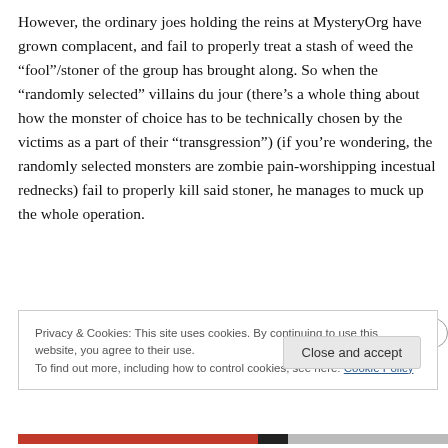However, the ordinary joes holding the reins at MysteryOrg have grown complacent, and fail to properly treat a stash of weed the “fool”/stoner of the group has brought along. So when the “randomly selected” villains du jour (there’s a whole thing about how the monster of choice has to be technically chosen by the victims as a part of their “transgression”) (if you’re wondering, the randomly selected monsters are zombie pain-worshipping incestual rednecks) fail to properly kill said stoner, he manages to muck up the whole operation.
Privacy & Cookies: This site uses cookies. By continuing to use this website, you agree to their use.
To find out more, including how to control cookies, see here: Cookie Policy